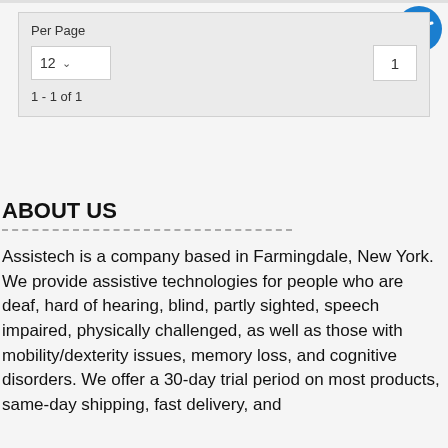[Figure (illustration): Blue circular accessibility icon with white human figure and arms outstretched]
Per Page
12 ▾
1 - 1 of 1
1
ABOUT US
Assistech is a company based in Farmingdale, New York. We provide assistive technologies for people who are deaf, hard of hearing, blind, partly sighted, speech impaired, physically challenged, as well as those with mobility/dexterity issues, memory loss, and cognitive disorders. We offer a 30-day trial period on most products, same-day shipping, fast delivery, and